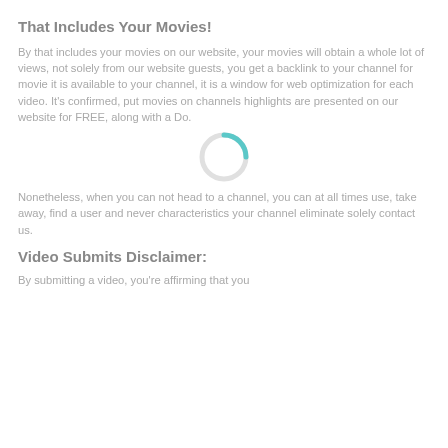That Includes Your Movies!
By that includes your movies on our website, your movies will obtain a whole lot of views, not solely from our website guests, you get a backlink to your channel for movie it is available to your channel, it is a window for web optimization for each video. It's confirmed, put movies on channels highlights are presented on our website for FREE, along with a Do.
[Figure (other): Loading spinner — a circular spinner icon with teal/grey arc]
Nonetheless, when you can not head to a channel, you can at all times use, take away, find a user and never characteristics your channel eliminate solely contact us.
Video Submits Disclaimer:
By submitting a video, you're affirming that you